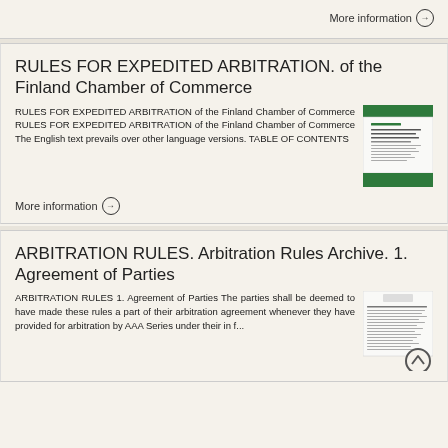More information →
RULES FOR EXPEDITED ARBITRATION. of the Finland Chamber of Commerce
RULES FOR EXPEDITED ARBITRATION of the Finland Chamber of Commerce RULES FOR EXPEDITED ARBITRATION of the Finland Chamber of Commerce The English text prevails over other language versions. TABLE OF CONTENTS
[Figure (illustration): Thumbnail of Rules for Expedited Arbitration document cover with green header and footer bands]
More information →
ARBITRATION RULES. Arbitration Rules Archive. 1. Agreement of Parties
ARBITRATION RULES 1. Agreement of Parties The parties shall be deemed to have made these rules a part of their arbitration agreement whenever they have provided for arbitration by AAA Series under their in f...
[Figure (illustration): Thumbnail of Arbitration Rules document with scroll-to-top button overlay]